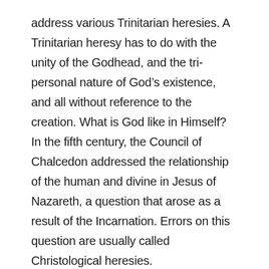address various Trinitarian heresies. A Trinitarian heresy has to do with the unity of the Godhead, and the tri-personal nature of God's existence, and all without reference to the creation. What is God like in Himself? In the fifth century, the Council of Chalcedon addressed the relationship of the human and divine in Jesus of Nazareth, a question that arose as a result of the Incarnation. Errors on this question are usually called Christological heresies.
THE TEXT
“And he is the head of the body, the church: who is the beginning, the firstborn from the dead; that in